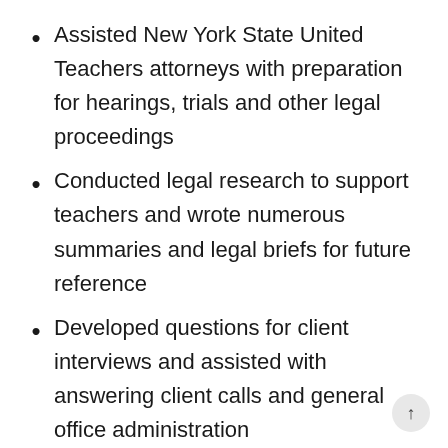Assisted New York State United Teachers attorneys with preparation for hearings, trials and other legal proceedings
Conducted legal research to support teachers and wrote numerous summaries and legal briefs for future reference
Developed questions for client interviews and assisted with answering client calls and general office administration